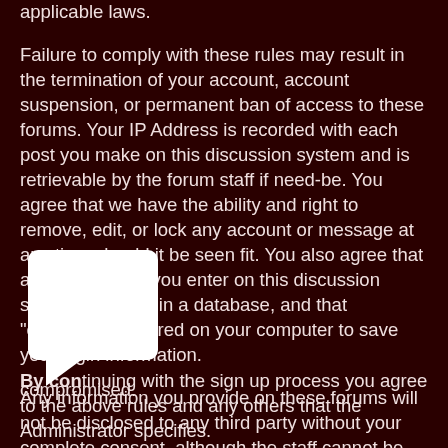applicable laws.
Failure to comply with these rules may result in the termination of your account, account suspension, or permanent ban of access to these forums. Your IP Address is recorded with each post you make on this discussion system and is retrievable by the forum staff if need-be. You agree that we have the ability and right to remove, edit, or lock any account or message at any time should it be seen fit. You also agree that any information you enter on this discussion system is stored in a database, and that "cookies" are stored on your computer to save your login information.
Any information you provide on these forums will not be disclosed to any third party without your complete consent, although the staff cannot be held liable for any hacking attempt in which your data is compromised.
By continuing with the sign up process you agree to the above rules and any others that the Administrator specifies.